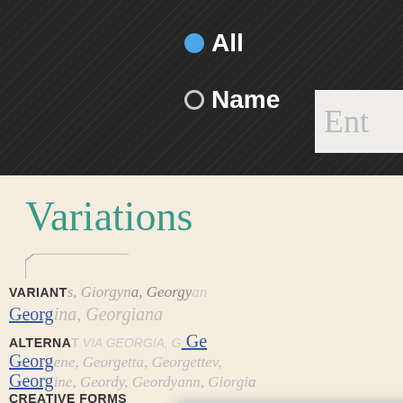[Figure (screenshot): Dark textured navigation bar with radio buttons for 'All' (selected, blue) and 'Name', plus a white input box labeled 'Ent...']
Variations
VARIANTS Giorgyn..., Georgy... an Georg... Georgiana...
ALTERNATIV... VIA GEORGIA, G... Ge... Georgene, Georgetta, Georgettev, Georg... Georgy, Geordyann, Giorgia...
CREATIVE FORMS
[Figure (screenshot): Cookie consent popup overlay: Title 'We use cookies', body text about cookie policy, 'Yes I agree' green button, 'I disagree' red button, 'Read more' dark gray button, footer 'Free cookie consent by cookie-script.com']